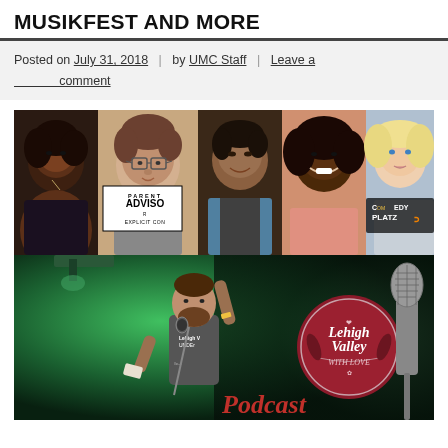MUSIKFEST AND MORE
Posted on July 31, 2018  |  by UMC Staff  |  Leave a comment
[Figure (photo): Collage of five portrait photos: a young Black woman, a man with glasses and a 'Parental Advisory Explicit Content' logo overlay, an Asian man smiling, a Black woman smiling, and a blonde woman, plus a 'Comedy Platzo' logo overlay on the right]
[Figure (photo): A man performing on stage at a green-lit venue wearing a Lehigh Valley Underground shirt, holding a microphone, with a 'Lehigh Valley With Love Podcast' logo on the right side]